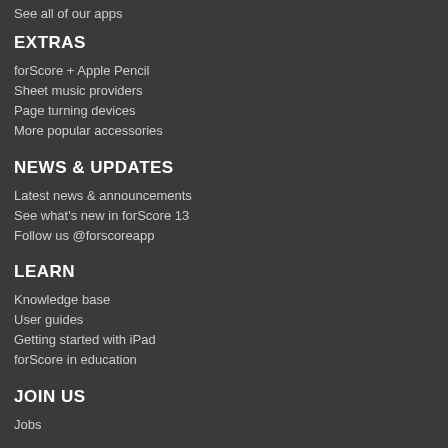See all of our apps
EXTRAS
forScore + Apple Pencil
Sheet music providers
Page turning devices
More popular accessories
NEWS & UPDATES
Latest news & announcements
See what's new in forScore 13
Follow us @forscoreapp
LEARN
Knowledge base
User guides
Getting started with iPad
forScore in education
JOIN US
Jobs